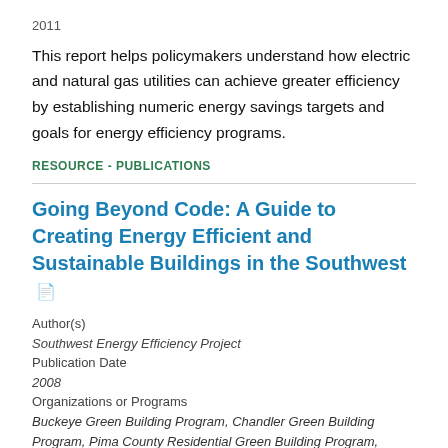2011
This report helps policymakers understand how electric and natural gas utilities can achieve greater efficiency by establishing numeric energy savings targets and goals for energy efficiency programs.
RESOURCE - PUBLICATIONS
Going Beyond Code: A Guide to Creating Energy Efficient and Sustainable Buildings in the Southwest
Author(s)
Southwest Energy Efficiency Project
Publication Date
2008
Organizations or Programs
Buckeye Green Building Program, Chandler Green Building Program, Pima County Residential Green Building Program, Scottsdale Green Building Program, Southern Nevada Green Building Partnership, Rohnert Park Green Building Program, Green County San Bernardino, Albuquerque Green Path Program, City of Boulder, CO, Boulder County